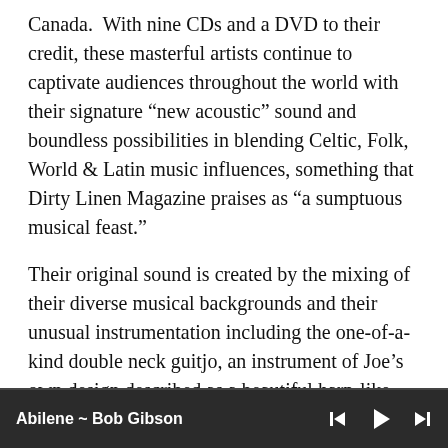Canada.  With nine CDs and a DVD to their credit, these masterful artists continue to captivate audiences throughout the world with their signature “new acoustic” sound and boundless possibilities in blending Celtic, Folk, World & Latin music influences, something that Dirty Linen Magazine praises as “a sumptuous musical feast.”
Their original sound is created by the mixing of their diverse musical backgrounds and their unusual instrumentation including the one-of-a-kind double neck guitjo, an instrument of Joe’s own design described as a beautiful harp-like sounding instrument. The double-neck
Abilene ~ Bob Gibson